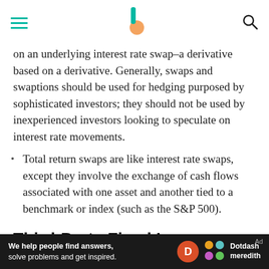Investopedia navigation bar with hamburger menu, logo, and search icon
on an underlying interest rate swap–a derivative based on a derivative. Generally, swaps and swaptions should be used for hedging purposed by sophisticated investors; they should not be used by inexperienced investors looking to speculate on interest rate movements.
Total return swaps are like interest rate swaps, except they involve the exchange of cash flows associated with one asset and another tied to a benchmark or index (such as the S&P 500).
Third-Party Fixed Income Payment Streams
[Figure (other): Dotdash Meredith advertisement banner: 'We help people find answers, solve problems and get inspired.' with D logo and Dotdash Meredith branding on dark background]